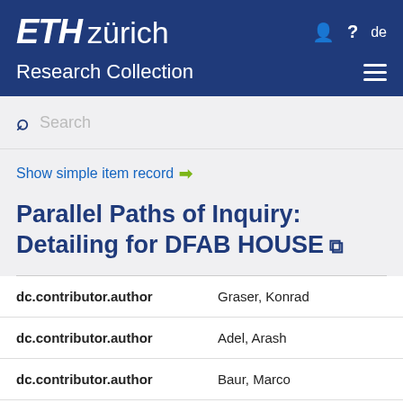[Figure (logo): ETH Zürich logo in white italic text on dark blue background]
Research Collection
Search
Show simple item record →
Parallel Paths of Inquiry: Detailing for DFAB HOUSE
| Field | Value |
| --- | --- |
| dc.contributor.author | Graser, Konrad |
| dc.contributor.author | Adel, Arash |
| dc.contributor.author | Baur, Marco |